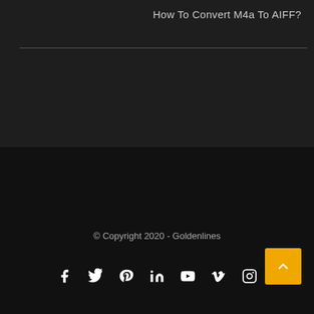How To Convert M4a To AIFF?
© Copyright 2020 - Goldenlines